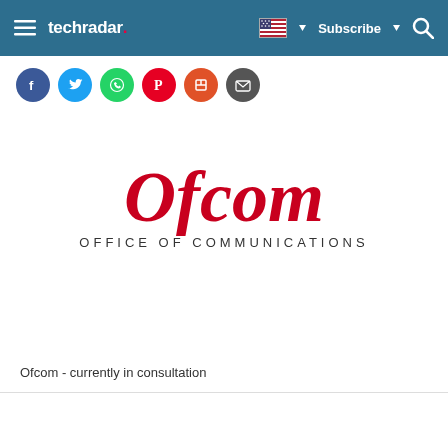techradar
[Figure (other): Social media share icons: Facebook, Twitter, WhatsApp, Pinterest, Flipboard, Email]
[Figure (logo): Ofcom - Office of Communications logo. Large red stylized text 'Ofcom' with subtitle 'OFFICE OF COMMUNICATIONS' in dark grey spaced caps.]
Ofcom - currently in consultation